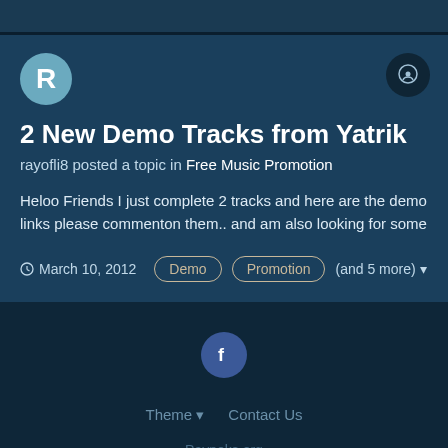2 New Demo Tracks from Yatrik
rayofli8 posted a topic in Free Music Promotion
Heloo Friends I just complete 2 tracks and here are the demo links please commenton them.. and am also looking for some
March 10, 2012  Demo  Promotion  (and 5 more)
Theme  Contact Us
Payneks.org
Powered by Invision Community